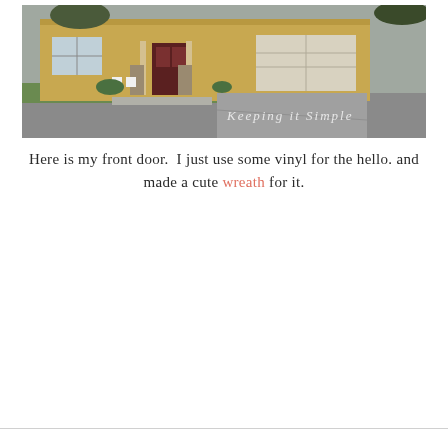[Figure (photo): Front exterior of a yellow single-story house with a garage, front porch with white chairs, green lawn, and driveway. Watermark text reads 'Keeping it Simple' in script font on the lower right.]
Here is my front door.  I just use some vinyl for the hello. and made a cute wreath for it.